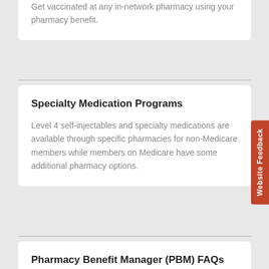Get vaccinated at any in-network pharmacy using your pharmacy benefit.
Specialty Medication Programs
Level 4 self-injectables and specialty medications are available through specific pharmacies for non-Medicare members while members on Medicare have some additional pharmacy options.
Pharmacy Benefit Manager (PBM) FAQs
See answers to the most frequently asked questions about the pharmacy benefit.